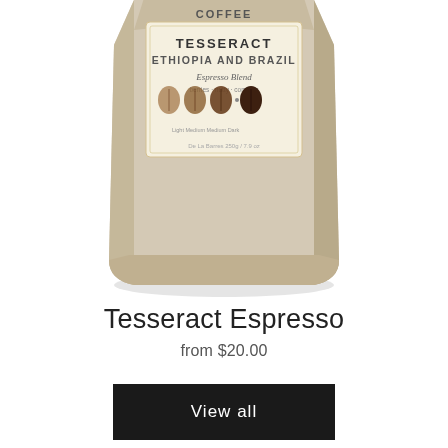[Figure (photo): A beige/tan coffee bag with a label reading 'TESSERACT ETHIOPIA AND BRAZIL Espresso Blend' with coffee bean icons.]
Tesseract Espresso
from $20.00
View all